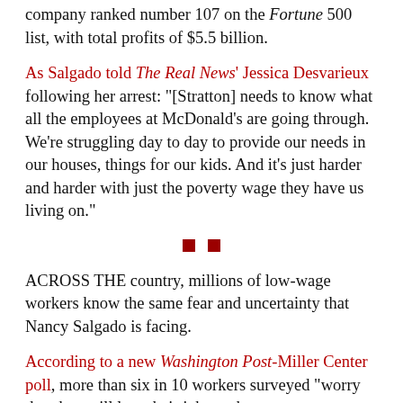company ranked number 107 on the Fortune 500 list, with total profits of $5.5 billion.
As Salgado told The Real News' Jessica Desvarieux following her arrest: "[Stratton] needs to know what all the employees at McDonald's are going through. We're struggling day to day to provide our needs in our houses, things for our kids. And it's just harder and harder with just the poverty wage they have us living on."
[Figure (other): Two small red squares used as a section divider]
ACROSS THE country, millions of low-wage workers know the same fear and uncertainty that Nancy Salgado is facing.
According to a new Washington Post-Miller Center poll, more than six in 10 workers surveyed "worry that they will lose their jobs to the economy, surpassing concerns in more than a dozen surveys dating to the